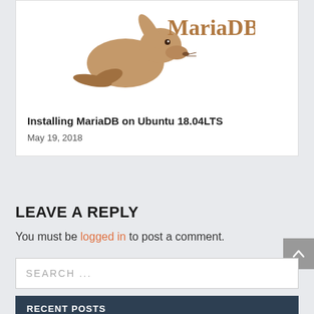[Figure (logo): MariaDB logo with sea lion illustration and 'MariaDB' text in brown/tan color]
Installing MariaDB on Ubuntu 18.04LTS
May 19, 2018
LEAVE A REPLY
You must be logged in to post a comment.
SEARCH ...
RECENT POSTS